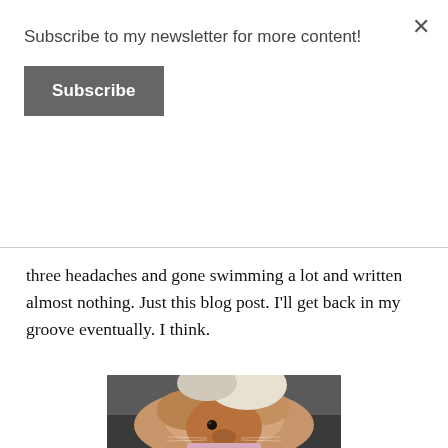Subscribe to my newsletter for more content!
Subscribe
three headaches and gone swimming a lot and written almost nothing. Just this blog post. I'll get back in my groove eventually. I think.
[Figure (photo): Close-up photo of a fluffy tan/brown rabbit sitting on dark fabric, with a pink object visible at the bottom edge.]